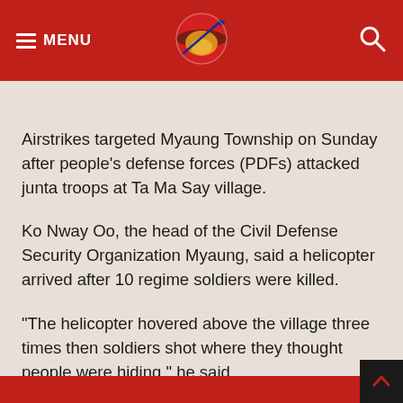MENU [logo] [search]
Airstrikes targeted Myaung Township on Sunday after people’s defense forces (PDFs) attacked junta troops at Ta Ma Say village.
Ko Nway Oo, the head of the Civil Defense Security Organization Myaung, said a helicopter arrived after 10 regime soldiers were killed.
“The helicopter hovered above the village three times then soldiers shot where they thought people were hiding,” he said.